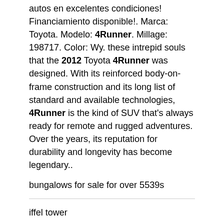autos en excelentes condiciones! Financiamiento disponible!. Marca: Toyota. Modelo: 4Runner. Millage: 198717. Color: Wy. these intrepid souls that the 2012 Toyota 4Runner was designed. With its reinforced body-on-frame construction and its long list of standard and available technologies, 4Runner is the kind of SUV that's always ready for remote and rugged adventures. Over the years, its reputation for durability and longevity has become legendary..
bungalows for sale for over 5539s
iffel tower
ketchum weather
The household is at risk of homelessness or housing instability (i.e. household received a past due rent or eviction notice).
The household lives in Illinois and rents their home as their primary residence.
The household is a low-income family (meaning those families whose incomes do